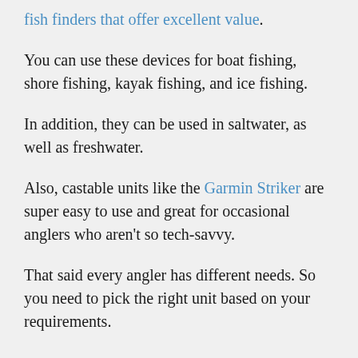fish finders that offer excellent value.
You can use these devices for boat fishing, shore fishing, kayak fishing, and ice fishing.
In addition, they can be used in saltwater, as well as freshwater.
Also, castable units like the Garmin Striker are super easy to use and great for occasional anglers who aren't so tech-savvy.
That said every angler has different needs. So you need to pick the right unit based on your requirements.